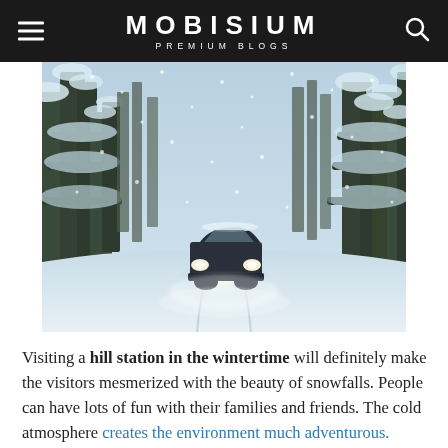MOBISIUM PREMIUM BLOGS
[Figure (photo): A vehicle with headlights on driving through a snow-covered forest road during heavy snowfall in winter.]
Visiting a hill station in the wintertime will definitely make the visitors mesmerized with the beauty of snowfalls. People can have lots of fun with their families and friends. The cold atmosphere creates the environment much adventurous.